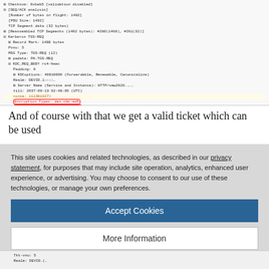[Figure (screenshot): Wireshark packet dissector screenshot showing Kerberos TGS-REQ fields including Record Mark, Pvno, MSG Type, padata, KDC_REQ_BODY, KDCoptions, Realm, Server Name, till, nonce, Encryption Types (des-cbc-md5 highlighted in red oval), Encryption type: rc4-hmac, and enc-authorization-data. Below is hex dump showing bytes 0x0530-0x0550 with some bytes highlighted in blue.]
And of course with that we get a valid ticket which can be used
This site uses cookies and related technologies, as described in our privacy statement, for purposes that may include site operation, analytics, enhanced user experience, or advertising. You may choose to consent to our use of these technologies, or manage your own preferences.
Accept Cookies
More Information
Privacy Policy | Powered by: TrustArc